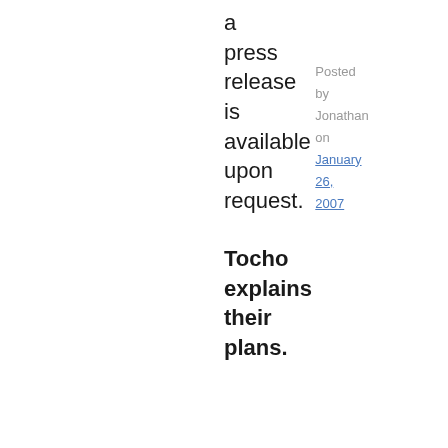a press release is available upon request.
Posted by Jonathan on January 26, 2007
Tocho explains their plans.